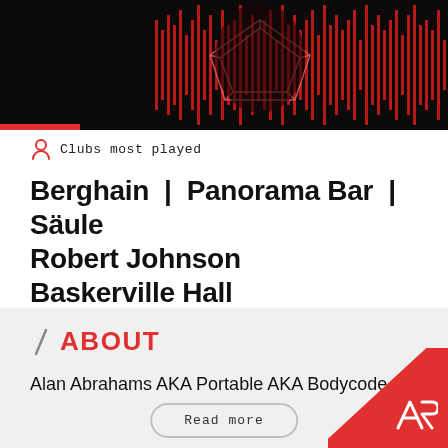[Figure (photo): Dark DJ/music visualization with red waveform bars and geometric heart/face outline in red lines on black background]
Clubs most played
Berghain | Panorama Bar | Säule
Robert Johnson
Baskerville Hall
://about blank
fabric
ABOUT
Alan Abrahams AKA Portable AKA Bodycode
Read more